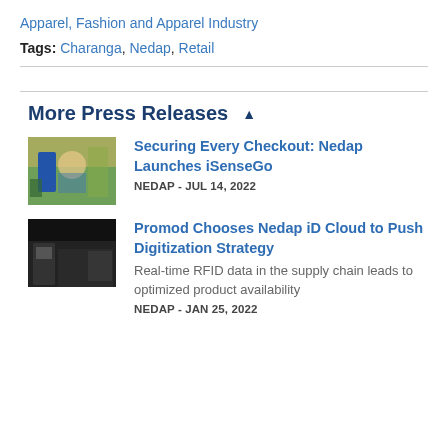Apparel, Fashion and Apparel Industry
Tags: Charanga, Nedap, Retail
More Press Releases
[Figure (photo): Photo of two people at a retail checkout counter with colorful store shelves in background]
Securing Every Checkout: Nedap Launches iSenseGo
NEDAP - JUL 14, 2022
[Figure (photo): Dark image of a retail store exterior at night with 'pro' signage visible]
Promod Chooses Nedap iD Cloud to Push Digitization Strategy
Real-time RFID data in the supply chain leads to optimized product availability
NEDAP - JAN 25, 2022